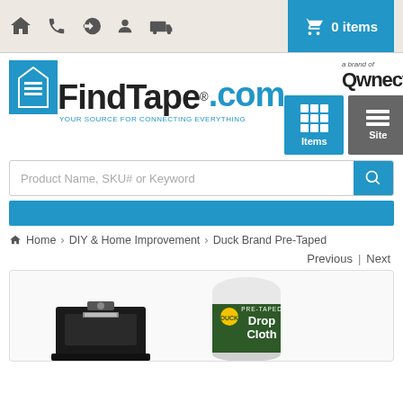Navigation bar with home, phone, login, account, shipping icons and cart showing 0 items
[Figure (logo): FindTape.com logo with blue box and tagline YOUR SOURCE FOR CONNECTING EVERYTHING, a brand of Qwnect, Items and Site navigation buttons]
Product Name, SKU# or Keyword
Home > DIY & Home Improvement > Duck Brand Pre-Taped
Previous | Next
[Figure (photo): Product images: a tape dispenser on the left and Duck Brand Pre-Taped Drop Cloth roll on the right]